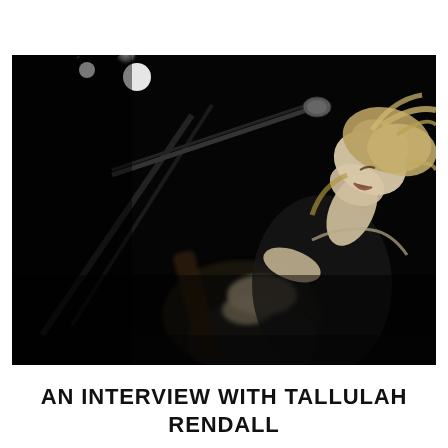[Figure (photo): Black and white concert photo of a blonde woman (Tallulah Rendall) singing passionately into a microphone with her head tilted back, playing guitar on stage with dramatic stage lighting]
AN INTERVIEW WITH TALLULAH RENDALL